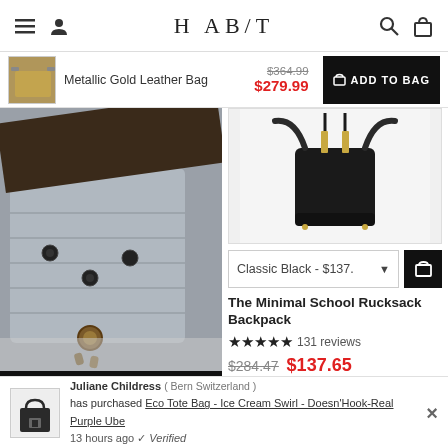HABIT — navigation header with menu, account, search, and bag icons
[Figure (screenshot): Cart notification bar showing Metallic Gold Leather Bag thumbnail, price $364.99 crossed out, sale price $279.99 in red, and black ADD TO BAG button]
[Figure (photo): Close-up photo of metallic silver/gold leather quilted bag with black braided chain strap and circular hardware studs]
[Figure (photo): Black minimal crossbody/bucket bag with gold hardware drawstring pulls and shoulder strap, on white background]
Classic Black - $137. ▼
The Minimal School Rucksack Backpack
★★★★★ 131 reviews
$284.47  $137.65
🛍 ADD TO BAG
Juliane Childress ( Bern Switzerland ) has purchased Eco Tote Bag - Ice Cream Swirl - Doesn'Hook-Real Purple Ube 13 hours ago ✔ Verified